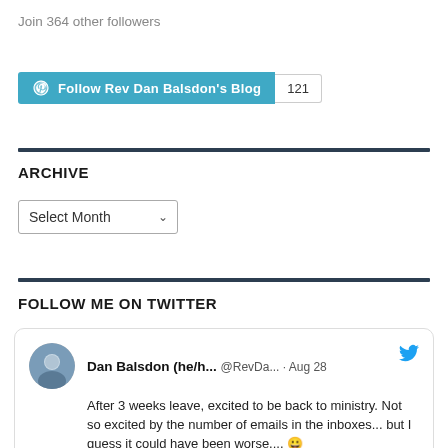Join 364 other followers
[Figure (screenshot): WordPress Follow button for Rev Dan Balsdon's Blog with follower count badge showing 121]
ARCHIVE
Select Month (dropdown)
FOLLOW ME ON TWITTER
[Figure (screenshot): Tweet card from Dan Balsdon (he/h... @RevDa...) Aug 28: After 3 weeks leave, excited to be back to ministry. Not so excited by the number of emails in the inboxes... but I guess it could have been worse.... 😀]